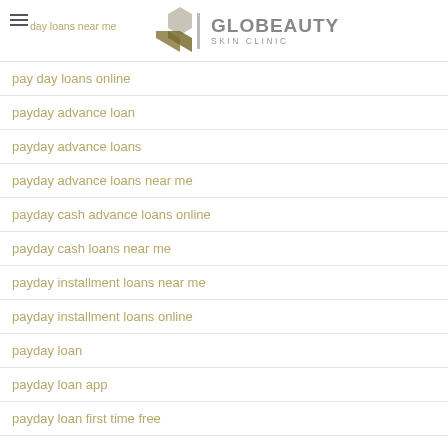GLOBEAUTY SKIN CLINIC
pay day loans online
payday advance loan
payday advance loans
payday advance loans near me
payday cash advance loans online
payday cash loans near me
payday installment loans near me
payday installment loans online
payday loan
payday loan app
payday loan first time free